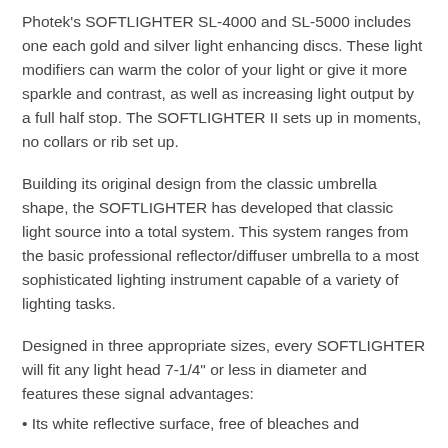Photek's SOFTLIGHTER SL-4000 and SL-5000 includes one each gold and silver light enhancing discs. These light modifiers can warm the color of your light or give it more sparkle and contrast, as well as increasing light output by a full half stop. The SOFTLIGHTER II sets up in moments, no collars or rib set up.
Building its original design from the classic umbrella shape, the SOFTLIGHTER has developed that classic light source into a total system. This system ranges from the basic professional reflector/diffuser umbrella to a most sophisticated lighting instrument capable of a variety of lighting tasks.
Designed in three appropriate sizes, every SOFTLIGHTER will fit any light head 7-1/4" or less in diameter and features these signal advantages:
• Its white reflective surface, free of bleaches and